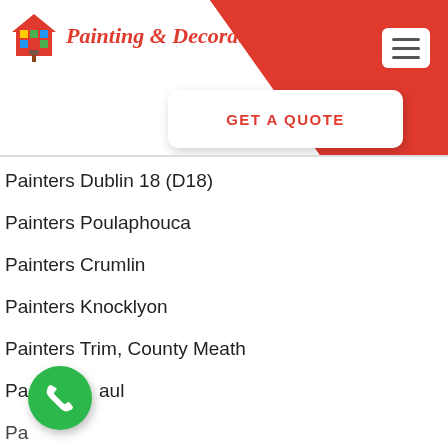[Figure (logo): Painting & Decorating logo with house and paintbrush icon in red]
GET A QUOTE
Painters Dublin 18 (D18)
Painters Poulaphouca
Painters Crumlin
Painters Knocklyon
Painters Trim, County Meath
Painters Raul
Painters Dublin 30 (D30)